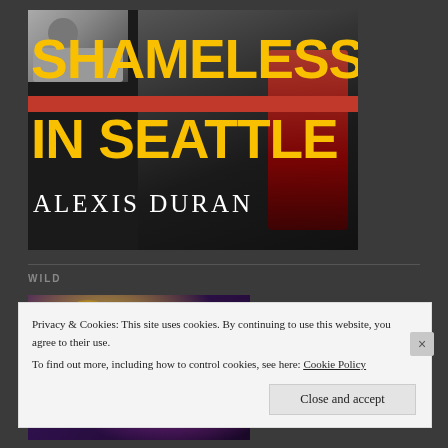[Figure (illustration): Book cover for 'Shameless in Seattle' by Alexis Duran. Dark background with two men in suits. Bold yellow title text 'SHAMELESS IN SEATTLE' with a red stripe accent. Author name in white serif letters 'ALEXIS DURAN'.]
WILD
[Figure (photo): Partial book cover showing a blonde figure against a purple smoky background — second book in the section labeled WILD.]
Privacy & Cookies: This site uses cookies. By continuing to use this website, you agree to their use.
To find out more, including how to control cookies, see here: Cookie Policy
Close and accept